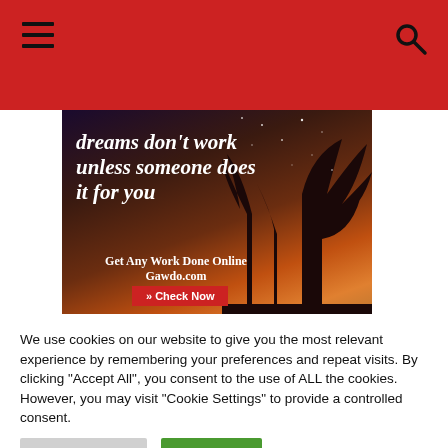Navigation header with hamburger menu and search icon
[Figure (illustration): Advertisement image with dark night sky background showing trees silhouetted, with text overlay: 'dreams don't work unless someone does it for you' and 'Get Any Work Done Online Gawdo.com' with a Check Now button]
We use cookies on our website to give you the most relevant experience by remembering your preferences and repeat visits. By clicking "Accept All", you consent to the use of ALL the cookies. However, you may visit "Cookie Settings" to provide a controlled consent.
Cookie Settings | Accept All